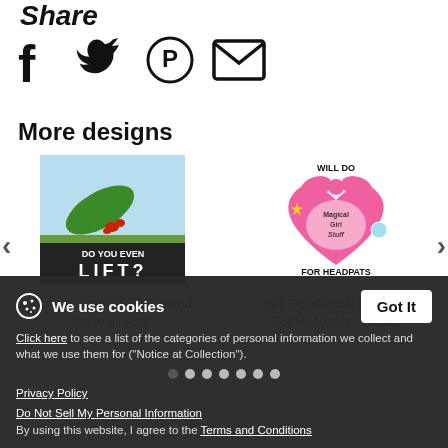Share
[Figure (infographic): Social share icons: Facebook (f), Twitter (bird), Pinterest (P circle), Email (envelope)]
More designs
[Figure (illustration): Product image: ant lifting a leaf with text 'DO YOU EVEN LIFT?']
Do you even LIFT? Pretend we're all Ants
[Figure (illustration): Product image: pink heart with 'Magical Girl Stuff' text, wand, bow - 'WILL DO FOR HEADPATS']
Will Do Magical Girl Stuff For Headpats - Anime
We use cookies
Click here to see a list of the categories of personal information we collect and what we use them for ("Notice at Collection").
Privacy Policy
Do Not Sell My Personal Information
By using this website, I agree to the Terms and Conditions